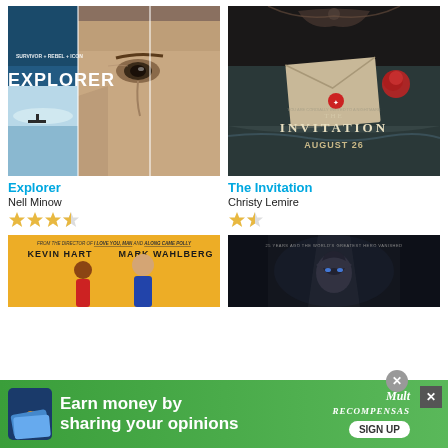[Figure (photo): Movie poster for Explorer - showing split panel with arctic landscape and close-up of man's face, text SURVIVOR REBEL ICON EXPLORER]
[Figure (photo): Movie poster for The Invitation - gothic romantic imagery with envelope, roses, crown, text THE INVITATION AUGUST 26]
Explorer
Nell Minow
[Figure (other): Star rating: 3.5 out of 5 stars]
The Invitation
Christy Lemire
[Figure (other): Star rating: 2 out of 5 stars]
[Figure (photo): Movie poster - yellow background with Kevin Hart and Mark Wahlberg, text FROM THE DIRECTOR OF I LOVE YOU MAN AND ALONG CAME POLLY]
[Figure (photo): Movie poster - dark atmospheric with hooded figure, text 25 YEARS AGO THE WORLD'S GREATEST HERO VANISHED]
[Figure (other): Advertisement banner - green background with Amazon logo, text Earn money by sharing your opinions, SIGN UP button, Mult Recompensas branding]